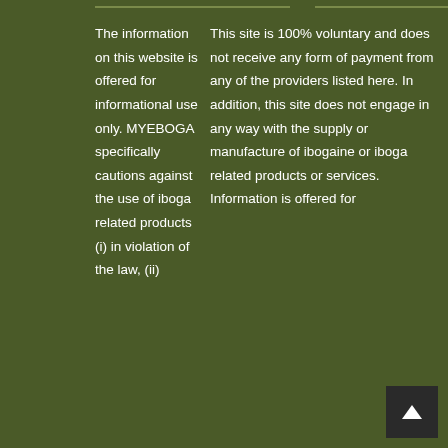The information on this website is offered for informational use only. MYEBOGA specifically cautions against the use of iboga related products (i) in violation of the law, (ii)
This site is 100% voluntary and does not receive any form of payment from any of the providers listed here. In addition, this site does not engage in any way with the supply or manufacture of ibogaine or iboga related products or services. Information is offered for